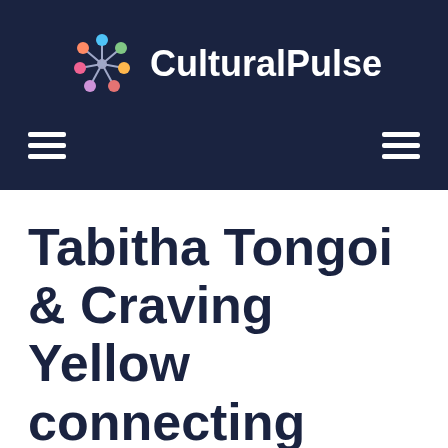CulturalPulse
Tabitha Tongoi & Craving Yellow connecting African women